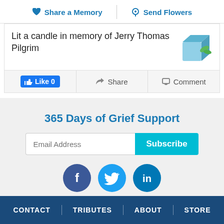Share a Memory | Send Flowers
Lit a candle in memory of Jerry Thomas Pilgrim
Like 0 | Share | Comment
365 Days of Grief Support
Email Address
Subscribe
[Figure (other): Social media icons: Facebook, Twitter, LinkedIn]
© Coleman Funeral Home and Cremation Services
Website Designed by funeralOne
CONTACT | TRIBUTES | ABOUT | STORE